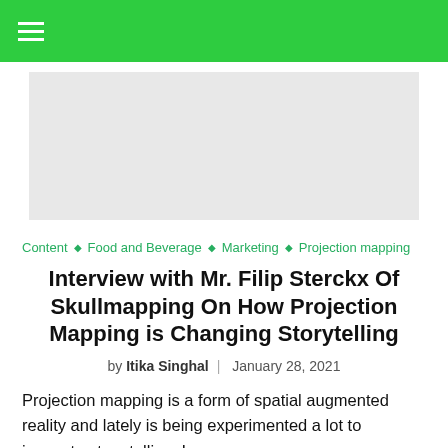≡
[Figure (other): Gray advertisement placeholder box]
Content ◇ Food and Beverage ◇ Marketing ◇ Projection mapping
Interview with Mr. Filip Sterckx Of Skullmapping On How Projection Mapping is Changing Storytelling
by Itika Singhal | January 28, 2021
Projection mapping is a form of spatial augmented reality and lately is being experimented a lot to innovate story telling. In...